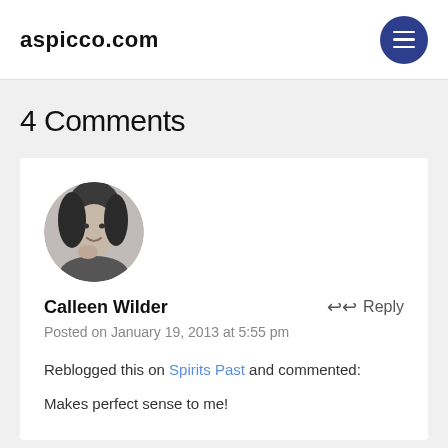aspicco.com
4 Comments
[Figure (photo): Circular black and white profile photo of Calleen Wilder, a woman smiling with hand near chin]
Calleen Wilder
Posted on January 19, 2013 at 5:55 pm
Reblogged this on Spirits Past and commented:
Makes perfect sense to me!